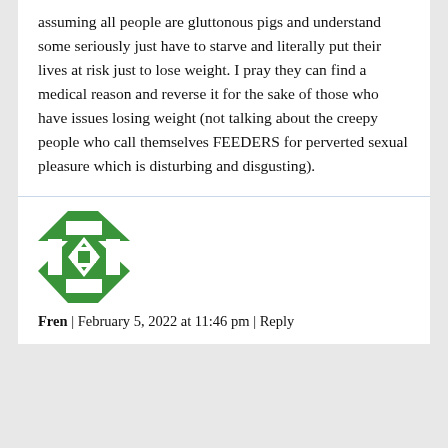assuming all people are gluttonous pigs and understand some seriously just have to starve and literally put their lives at risk just to lose weight. I pray they can find a medical reason and reverse it for the sake of those who have issues losing weight (not talking about the creepy people who call themselves FEEDERS for perverted sexual pleasure which is disturbing and disgusting).
[Figure (illustration): Green and white geometric quilt-pattern avatar icon]
Fren | February 5, 2022 at 11:46 pm | Reply